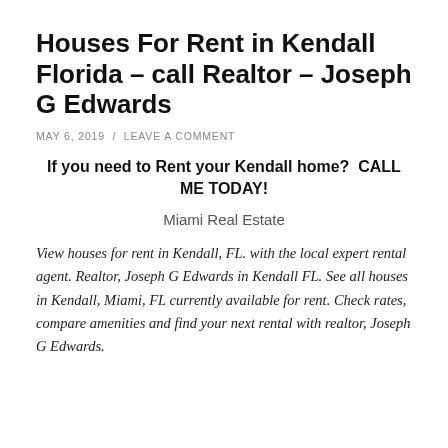Houses For Rent in Kendall Florida – call Realtor – Joseph G Edwards
MAY 6, 2019  /  LEAVE A COMMENT
If you need to Rent your Kendall home?  CALL ME TODAY!
Miami Real Estate
View houses for rent in Kendall, FL. with the local expert rental agent. Realtor, Joseph G Edwards in Kendall FL. See all houses in Kendall, Miami, FL currently available for rent. Check rates, compare amenities and find your next rental with realtor, Joseph G Edwards.